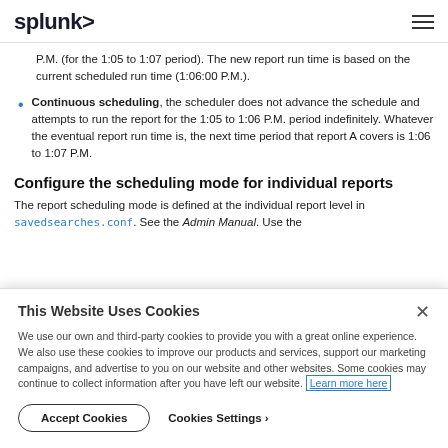splunk>
P.M. (for the 1:05 to 1:07 period). The new report run time is based on the current scheduled run time (1:06:00 P.M.).
Continuous scheduling, the scheduler does not advance the schedule and attempts to run the report for the 1:05 to 1:06 P.M. period indefinitely. Whatever the eventual report run time is, the next time period that report A covers is 1:06 to 1:07 P.M.
Configure the scheduling mode for individual reports
The report scheduling mode is defined at the individual report level in savedsearches.conf. See the Admin Manual. Use the
This Website Uses Cookies
We use our own and third-party cookies to provide you with a great online experience. We also use these cookies to improve our products and services, support our marketing campaigns, and advertise to you on our website and other websites. Some cookies may continue to collect information after you have left our website. Learn more here
Accept Cookies   Cookies Settings ›